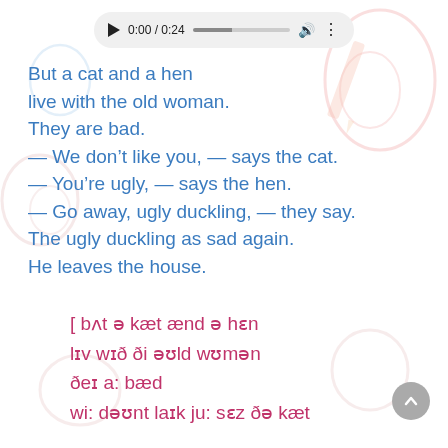[Figure (screenshot): Audio player bar showing play button, time 0:00/0:24, progress bar, volume icon, and menu dots]
But a cat and a hen
live with the old woman.
They are bad.
— We don't like you, — says the cat.
— You're ugly, — says the hen.
— Go away, ugly duckling, — they say.
The ugly duckling as sad again.
He leaves the house.
[ bʌt ə kæt ænd ə hɛn
lɪv wɪð ði əʊld wʊmən
ðeɪ a: bæd
wi: dəʊnt laɪk ju: sɛz ðə kæt